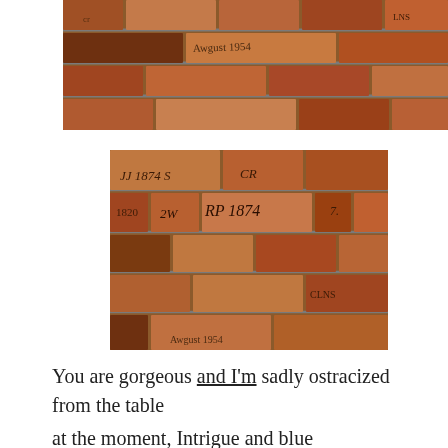[Figure (photo): Close-up photograph of old brick wall with inscriptions/graffiti carved into the bricks, showing various letters and numbers including 'Awgust 1954']
[Figure (photo): Photograph of old brick wall with carved inscriptions including initials and dates such as 'JJ 1874 S', 'CR', '1820', '2W', 'RP 1874', 'CLNS', 'Awgust 1954']
You are gorgeous and I'm sadly ostracized from the table
at the moment, Intrigue and blue